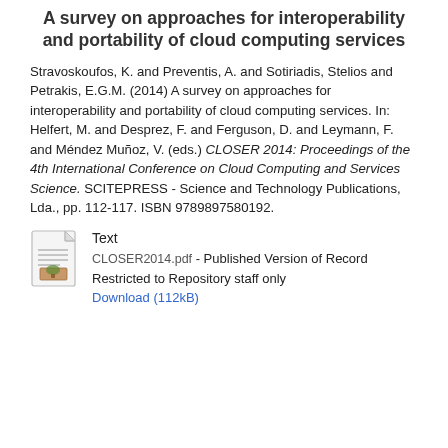A survey on approaches for interoperability and portability of cloud computing services
Stravoskoufos, K. and Preventis, A. and Sotiriadis, Stelios and Petrakis, E.G.M. (2014) A survey on approaches for interoperability and portability of cloud computing services. In: Helfert, M. and Desprez, F. and Ferguson, D. and Leymann, F. and Méndez Muñoz, V. (eds.) CLOSER 2014: Proceedings of the 4th International Conference on Cloud Computing and Services Science. SCITEPRESS - Science and Technology Publications, Lda., pp. 112-117. ISBN 9789897580192.
[Figure (other): Document file icon representing a PDF file]
Text
CLOSER2014.pdf - Published Version of Record
Restricted to Repository staff only
Download (112kB)